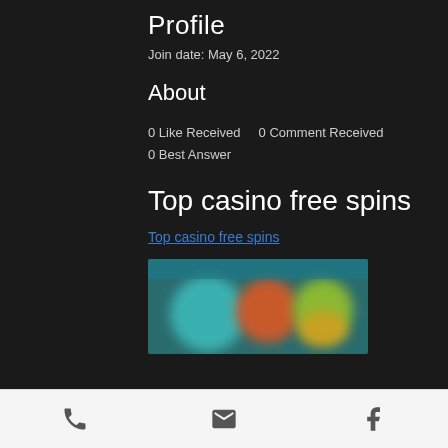Profile
Join date: May 6, 2022
About
0 Like Received    0 Comment Received
0 Best Answer
Top casino free spins
Top casino free spins
[Figure (photo): Blurred image of casino-related content with colorful background]
Phone | Email | Facebook icons